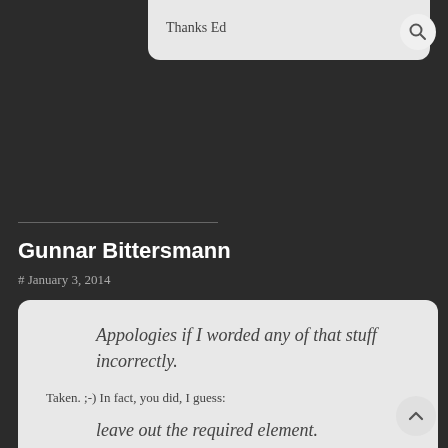Thanks Ed
Gunnar Bittersmann
# January 3, 2014
Appologies if I worded any of that stuff incorrectly.
Taken. ;-) In fact, you did, I guess:
leave out the required element.
In HTML 4, the tbody element is required but the start and